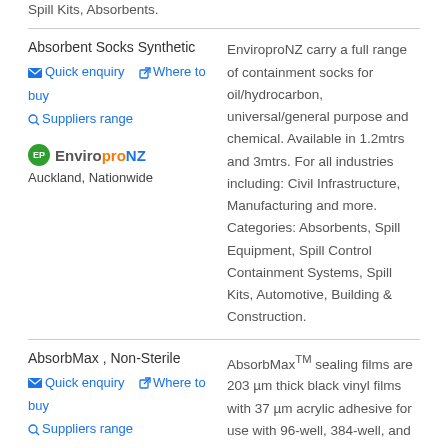Spill Kits, Absorbents.
Absorbent Socks Synthetic
Quick enquiry   Where to buy   Suppliers range
EP EnviroproNZ
Auckland, Nationwide
EnviroproNZ carry a full range of containment socks for oil/hydrocarbon, universal/general purpose and chemical. Available in 1.2mtrs and 3mtrs. For all industries including: Civil Infrastructure, Manufacturing and more. Categories: Absorbents, Spill Equipment, Spill Control Containment Systems, Spill Kits, Automotive, Building & Construction.
AbsorbMax , Non-Sterile
Quick enquiry   Where to buy   Suppliers range
AbsorbMaxTM sealing films are 203 µm thick black vinyl films with 37 µm acrylic adhesive for use with 96-well, 384-well, and